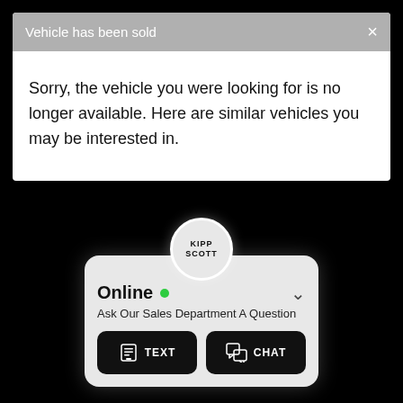Vehicle has been sold
Sorry, the vehicle you were looking for is no longer available. Here are similar vehicles you may be interested in.
[Figure (screenshot): Kipp Scott dealership chat widget showing Online status with green dot, 'Ask Our Sales Department A Question' prompt, and TEXT and CHAT buttons]
Online
Ask Our Sales Department A Question
TEXT
CHAT